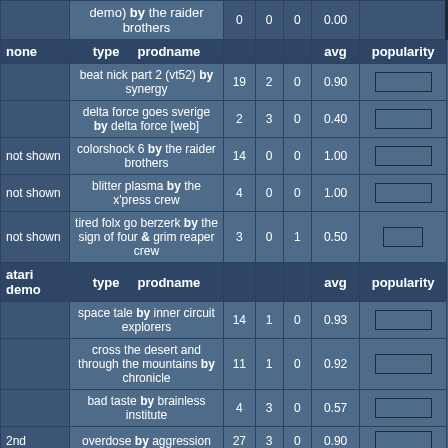| none/category | type  prodname |  |  |  | avg | popularity |
| --- | --- | --- | --- | --- | --- | --- |
|  | demo) by the raider brothers | 0 | 0 | 0 | 0.00 |  |
| none | type  prodname |  |  |  | avg | popularity |
|  | beat nick part 2 (vt52) by synergy | 19 | 2 | 0 | 0.90 |  |
|  | delta force goes sverige by delta force [web] | 2 | 3 | 0 | 0.40 |  |
| not shown | colorshock 6 by the raider brothers | 14 | 0 | 0 | 1.00 |  |
| not shown | blitter plasma by the x'press crew | 4 | 0 | 0 | 1.00 |  |
| not shown | tired folx go berzerk by the sign of four & grim reaper crew | 3 | 0 | 1 | 0.50 |  |
| atari demo | type  prodname |  |  |  | avg | popularity |
|  | space tale by inner circuit explorers | 14 | 1 | 0 | 0.93 |  |
|  | cross the desert and through the mountains by chronicle | 11 | 1 | 0 | 0.92 |  |
|  | bad taste by brainless institute | 4 | 3 | 0 | 0.57 |  |
| 2nd | overdose by aggression | 27 | 3 | 0 | 0.90 |  |